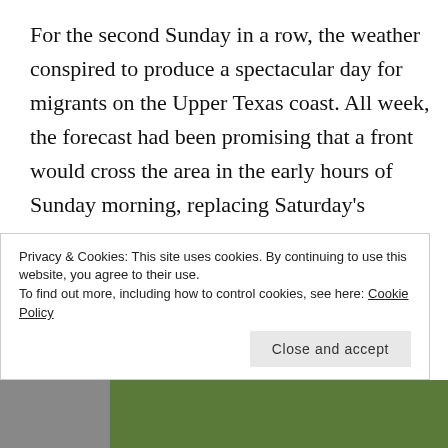For the second Sunday in a row, the weather conspired to produce a spectacular day for migrants on the Upper Texas coast. All week, the forecast had been promising that a front would cross the area in the early hours of Sunday morning, replacing Saturday's strong, hot southerly winds with cool northerlies and a band of rain. For once, the forecast was more or less correct. Not much rain materialized but it didn't matter: the cool winds stopped the migrants in their tracks and we had the best day of the season bar none.
Privacy & Cookies: This site uses cookies. By continuing to use this website, you agree to their use.
To find out more, including how to control cookies, see here: Cookie Policy
Close and accept